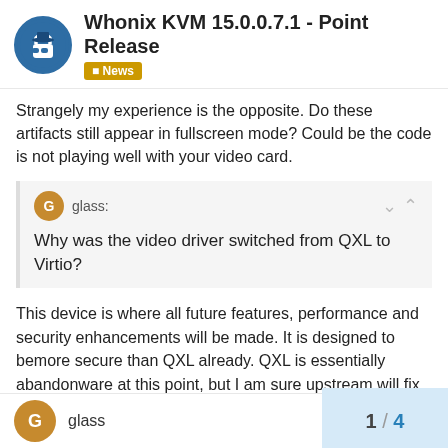Whonix KVM 15.0.0.7.1 - Point Release | News
Strangely my experience is the opposite. Do these artifacts still appear in fullscreen mode? Could be the code is not playing well with your video card.
glass: Why was the video driver switched from QXL to Virtio?
This device is where all future features, performance and security enhancements will be made. It is designed to bemore secure than QXL already. QXL is essentially abandonware at this point, but I am sure upstream will fix any vulns discovered. However most eyes will be on the default recommendation which is virtio at this point.
glass 1 / 4